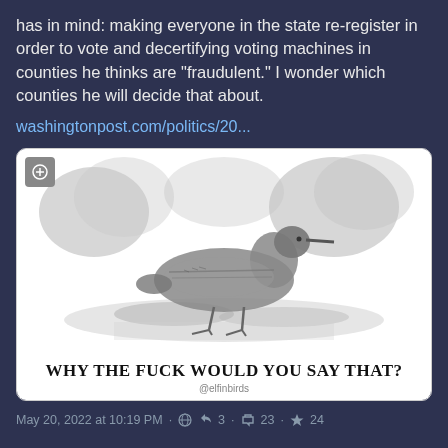has in mind: making everyone in the state re-register in order to vote and decertifying voting machines in counties he thinks are "fraudulent." I wonder which counties he will decide that about.
washingtonpost.com/politics/20...
[Figure (illustration): Black and white vintage-style engraving of a shorebird (sandpiper or similar wading bird) standing near water with foliage in the background. Below the bird image is bold text reading 'WHY THE FUCK WOULD YOU SAY THAT?' with attribution '@elfinbirds'.]
May 20, 2022 at 10:19 PM · 🌐 ↩ 3 · 🔁 23 · ⭐ 24